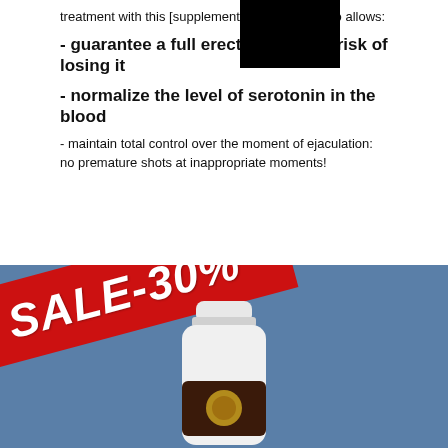treatment with this [supplement] supplement also allows:
- guarantee a full erection without risk of losing it
- normalize the level of serotonin in the blood
- maintain total control over the moment of ejaculation: no premature shots at inappropriate moments!
[Figure (photo): White supplement/pill bottle with dark label, shown against blue background with a red diagonal sale banner reading SALE-30%]